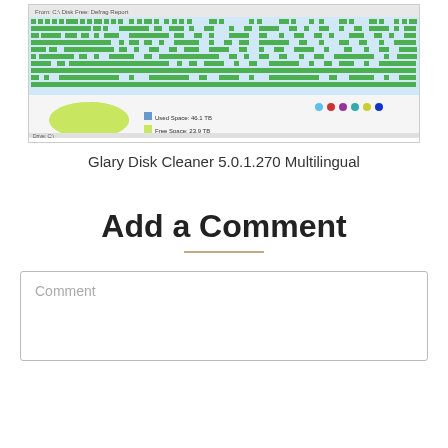[Figure (screenshot): Screenshot of Glary Disk Cleaner application showing a disk map with green and light blue blocks, a pie chart showing Used Space and Free Space, and colored legend dots.]
Glary Disk Cleaner 5.0.1.270 Multilingual
Add a Comment
Comment